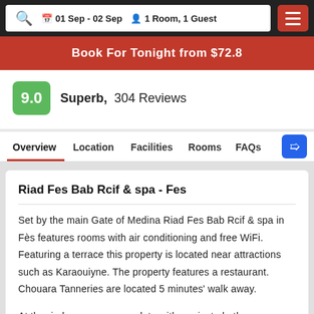01 Sep - 02 Sep   1 Room, 1 Guest
Book For Tonight from $72.8
9.0  Superb,  304 Reviews
Overview  Location  Facilities  Rooms  FAQs
Riad Fes Bab Rcif & spa - Fes
Set by the main Gate of Medina Riad Fes Bab Rcif & spa in Fès features rooms with air conditioning and free WiFi. Featuring a terrace this property is located near attractions such as Karaouiyne. The property features a restaurant. Chouara Tanneries are located 5 minutes' walk away.
At the riad rooms are complete with a private bathroom